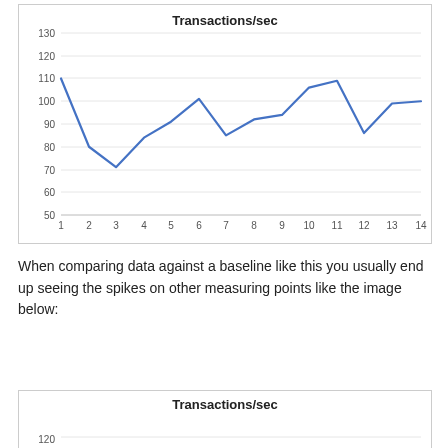[Figure (line-chart): Transactions/sec]
When comparing data against a baseline like this you usually end up seeing the spikes on other measuring points like the image below:
[Figure (line-chart): Transactions/sec]